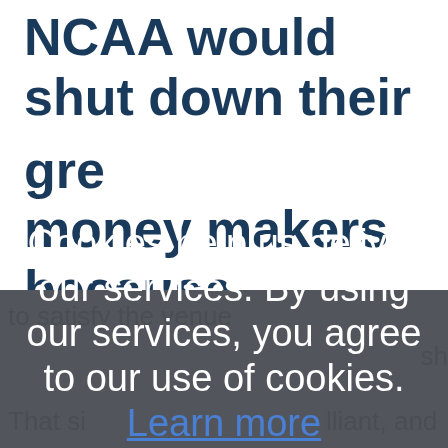NCAA would shut down their greatest money makers because someone had a cold?
Cookies help us deliver our services. By using our services, you agree to our use of cookies. Learn more OK